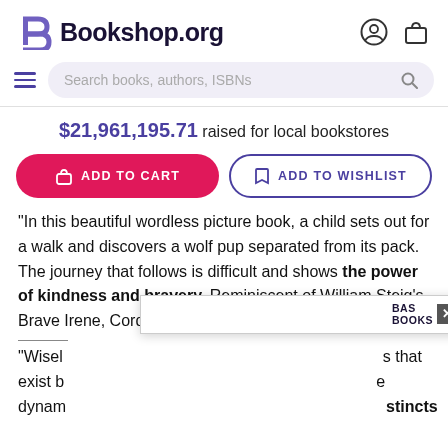Bookshop.org
$21,961,195.71 raised for local bookstores
ADD TO CART | ADD TO WISHLIST
"In this beautiful wordless picture book, a child sets out for a walk and discovers a wolf pup separated from its pack. The journey that follows is difficult and shows the power of kindness and bravery. Reminiscent of William Steig's Brave Irene, Cordell's book is a perfect choice for the da...
"Wisely ... s that exist b... e dynam... stincts